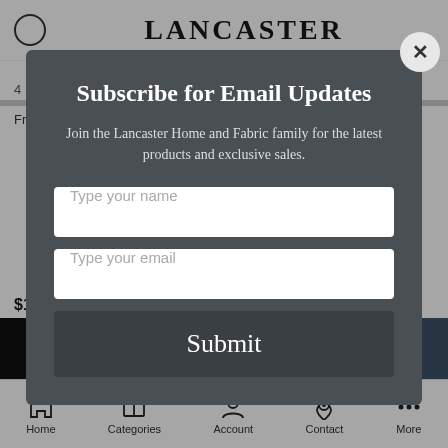[Figure (screenshot): Mobile e-commerce product page background showing Lancaster logo header, navigation, Add to Cart and Buy Now buttons, and bottom nav bar with Home, Categories, Account, Contact, More icons]
Subscribe for Email Updates
Join the Lancaster Home and Fabric family for the latest products and exclusive sales.
Type your name
Type your email
Submit